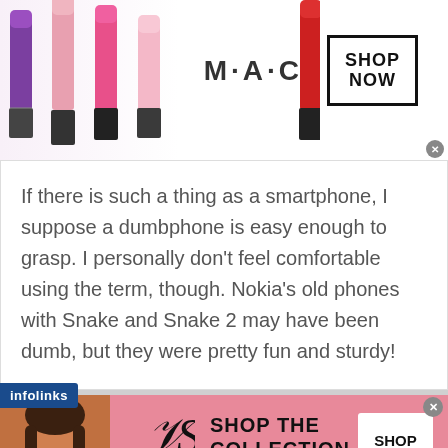[Figure (screenshot): MAC cosmetics advertisement banner showing colorful lipsticks on left, MAC logo in center, SHOP NOW button in bordered box on right]
If there is such a thing as a smartphone, I suppose a dumbphone is easy enough to grasp. I personally don’t feel comfortable using the term, though. Nokia’s old phones with Snake and Snake 2 may have been dumb, but they were pretty fun and sturdy!
[Figure (screenshot): Victoria's Secret advertisement banner with pink background showing a woman, VS logo, SHOP THE COLLECTION text, and SHOP NOW button]